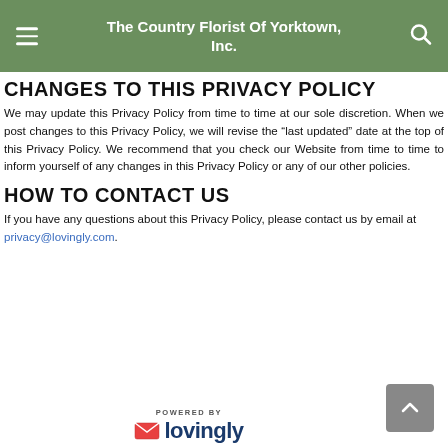The Country Florist Of Yorktown, Inc.
CHANGES TO THIS PRIVACY POLICY
We may update this Privacy Policy from time to time at our sole discretion. When we post changes to this Privacy Policy, we will revise the “last updated” date at the top of this Privacy Policy. We recommend that you check our Website from time to time to inform yourself of any changes in this Privacy Policy or any of our other policies.
HOW TO CONTACT US
If you have any questions about this Privacy Policy, please contact us by email at privacy@lovingly.com.
POWERED BY lovingly